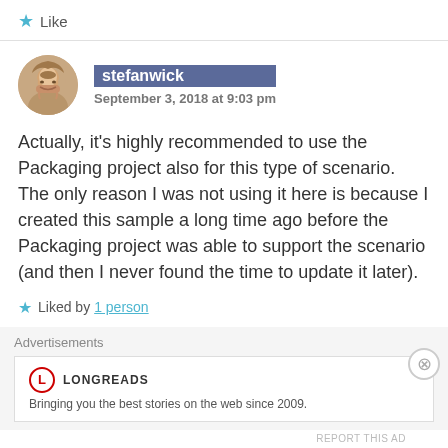★ Like
stefanwick
September 3, 2018 at 9:03 pm
Actually, it's highly recommended to use the Packaging project also for this type of scenario. The only reason I was not using it here is because I created this sample a long time ago before the Packaging project was able to support the scenario (and then I never found the time to update it later).
★ Liked by 1 person
Advertisements
LONGREADS
Bringing you the best stories on the web since 2009.